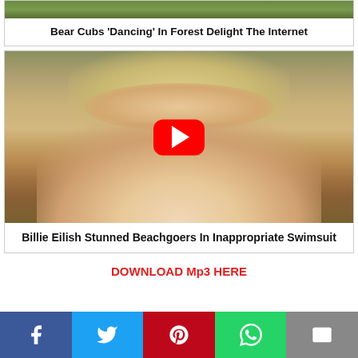[Figure (photo): Bear cubs in a forest - partial image at top]
Bear Cubs 'Dancing' In Forest Delight The Internet
[Figure (photo): Billie Eilish in a white swimsuit with a YouTube play button overlay]
Billie Eilish Stunned Beachgoers In Inappropriate Swimsuit
DOWNLOAD Mp3 HERE
[Figure (infographic): Social share bar with Facebook, Twitter, Pinterest, WhatsApp, and Email buttons]